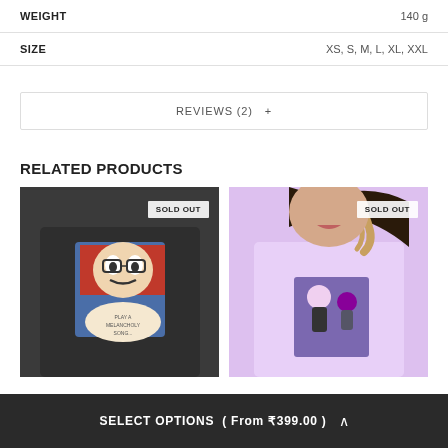| Attribute | Value |
| --- | --- |
| WEIGHT | 140 g |
| SIZE | XS, S, M, L, XL, XXL |
REVIEWS (2) +
RELATED PRODUCTS
[Figure (photo): Dark grey t-shirt with graphic print, person wearing it, SOLD OUT badge in top right]
[Figure (photo): Lavender/light purple t-shirt with graphic print, person wearing it, SOLD OUT badge in top right]
SELECT OPTIONS ( From ₹399.00 ) ∧